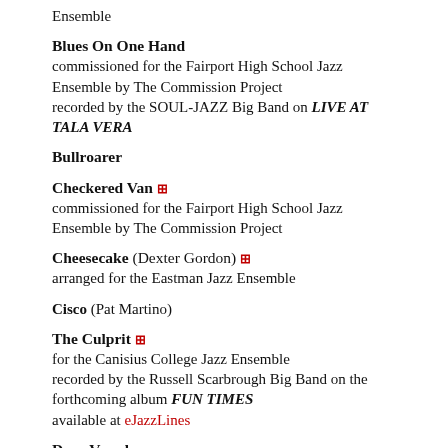Ensemble
Blues On One Hand
commissioned for the Fairport High School Jazz Ensemble by The Commission Project
recorded by the SOUL-JAZZ Big Band on LIVE AT TALA VERA
Bullroarer
Checkered Van [icon]
commissioned for the Fairport High School Jazz Ensemble by The Commission Project
Cheesecake (Dexter Gordon) [icon]
arranged for the Eastman Jazz Ensemble
Cisco (Pat Martino)
The Culprit [icon]
for the Canisius College Jazz Ensemble
recorded by the Russell Scarbrough Big Band on the forthcoming album FUN TIMES
available at eJazzLines
Deep Vessels